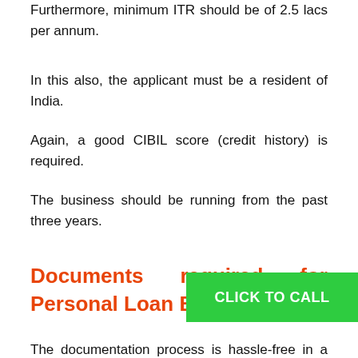Furthermore, minimum ITR should be of 2.5 lacs per annum.
In this also, the applicant must be a resident of India.
Again, a good CIBIL score (credit history) is required.
The business should be running from the past three years.
Documents required for Personal Loan Bhoring
The documentation process is hassle-free in a Personal Loan. Though, Personal Loan is a highly unsecured loan so, the bank needs to be guaranteed. The following documents of the applicant are the documents required by most banks and NBFCs for